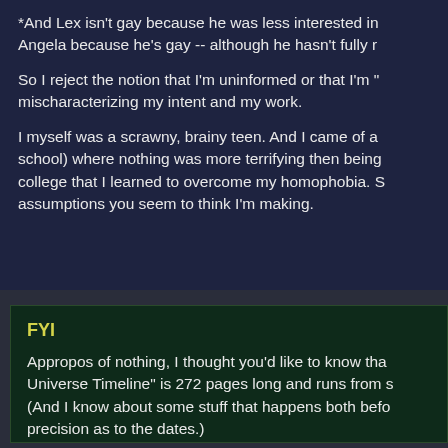*And Lex isn't gay because he was less interested in Angela because he's gay -- although he hasn't fully r
So I reject the notion that I'm uninformed or that I'm mischaracterizing my intent and my work.
I myself was a scrawny, brainy teen. And I came of a school) where nothing was more terrifying then being college that I learned to overcome my homophobia. S assumptions you seem to think I'm making.
FYI
Appropos of nothing, I thought you'd like to know tha Universe Timeline" is 272 pages long and runs from s (And I know about some stuff that happens both befo precision as to the dates.)
272 pages!